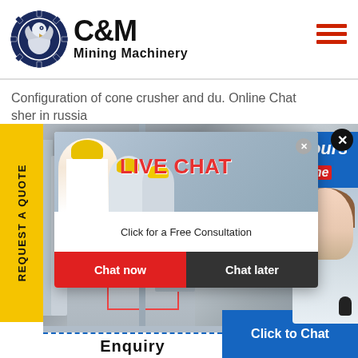[Figure (logo): C&M Mining Machinery logo with eagle gear emblem in dark blue, company name in bold black text]
Configuration of cone crusher and du. Online Chat
sher in russia
REQUEST A QUOTE
[Figure (screenshot): Live chat popup overlay showing workers in hard hats, LIVE CHAT heading in red, 'Click for a Free Consultation' subtext, Chat now (red) and Chat later (dark) buttons. Right panel shows Hours/Online in blue with customer service agent photo. X close button visible.]
LIVE CHAT
Click for a Free Consultation
Chat now
Chat later
Hours
nline
Click to Chat
Enquiry